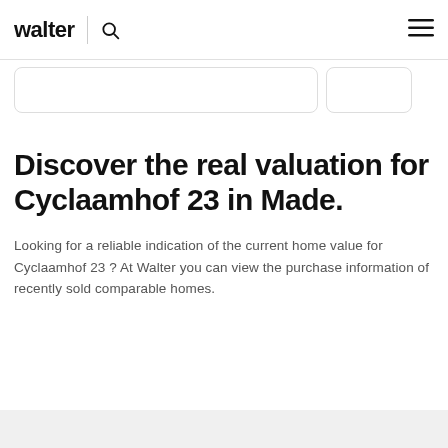walter
Discover the real valuation for Cyclaamhof 23 in Made.
Looking for a reliable indication of the current home value for Cyclaamhof 23 ? At Walter you can view the purchase information of recently sold comparable homes.